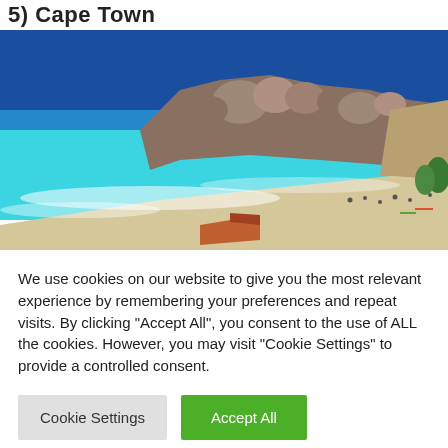5) Cape Town
[Figure (photo): Aerial view of a Cape Town beach with turquoise water, rocky boulders forming a headland, white sandy beach with people, and buildings in the foreground.]
We use cookies on our website to give you the most relevant experience by remembering your preferences and repeat visits. By clicking "Accept All", you consent to the use of ALL the cookies. However, you may visit "Cookie Settings" to provide a controlled consent.
Cookie Settings  Accept All